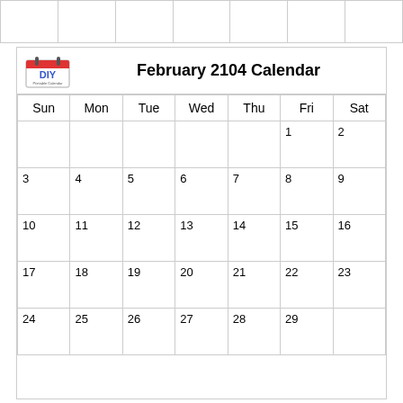| Sun | Mon | Tue | Wed | Thu | Fri | Sat |
| --- | --- | --- | --- | --- | --- | --- |
|  |  |  |  |  | 1 | 2 |
| 3 | 4 | 5 | 6 | 7 | 8 | 9 |
| 10 | 11 | 12 | 13 | 14 | 15 | 16 |
| 17 | 18 | 19 | 20 | 21 | 22 | 23 |
| 24 | 25 | 26 | 27 | 28 | 29 |  |